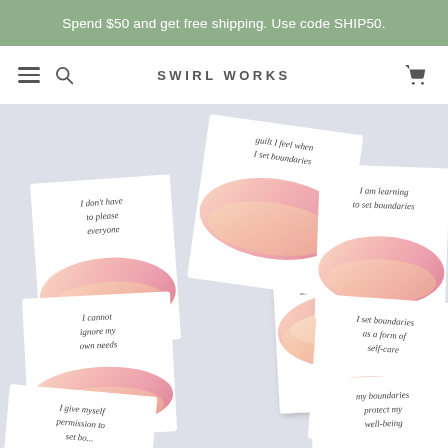Spend $50 and get free shipping. Use code SHIP50.
SWIRL WORKS
[Figure (photo): Flat lay of multiple affirmation cards for Boundaries by Swirl Works. Cards show handwritten-style text including: 'I don't have to please everyone', 'guilt I feel when I set boundaries', 'I am learning to set boundaries', 'I cannot ignore my own needs', 'Affirmations for Boundaries created by Rachel Tenney #rachelsaylovesees', 'I set boundaries as a form of self-care', 'my boundaries protect my well-being', 'I give myself permission to set bo...'. Cards feature watercolor painted swirls in pink, peach, and cream tones.]